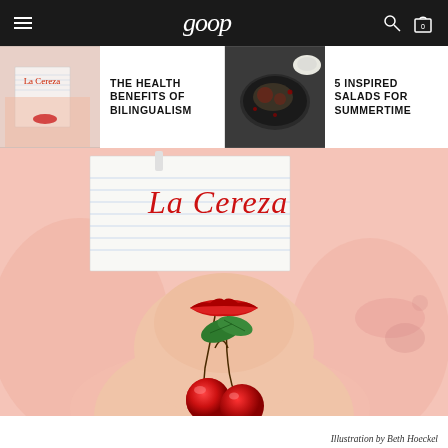goop
[Figure (screenshot): Thumbnail strip with two article previews: 'The Health Benefits of Bilingualism' with book cover showing La Cereza, and '5 Inspired Salads for Summertime' with food photo]
[Figure (illustration): Large illustration by Beth Hoeckel: woman's lower face with red lips holding two cherries by stem, overlaid with notebook paper card reading 'La Cereza' in red handwriting, on a pink watercolor background]
Illustration by Beth Hoeckel